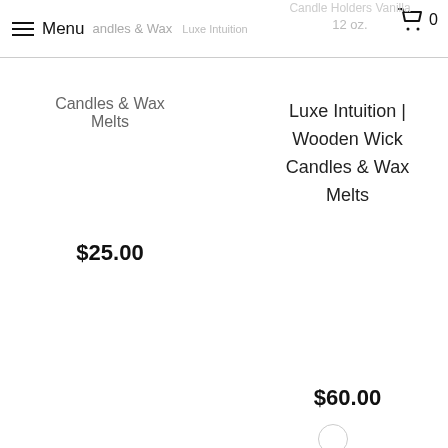Menu | Candles & Wax Melts | Luxe Intuition | 0
Candles & Wax Melts
$25.00
Luxe Intuition | Wooden Wick Candles & Wax Melts
$60.00